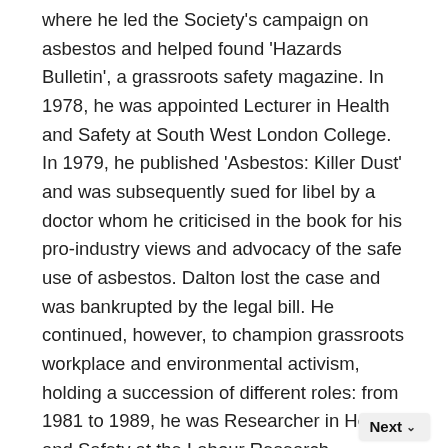where he led the Society's campaign on asbestos and helped found 'Hazards Bulletin', a grassroots safety magazine. In 1978, he was appointed Lecturer in Health and Safety at South West London College. In 1979, he published 'Asbestos: Killer Dust' and was subsequently sued for libel by a doctor whom he criticised in the book for his pro-industry views and advocacy of the safe use of asbestos. Dalton lost the case and was bankrupted by the legal bill. He continued, however, to champion grassroots workplace and environmental activism, holding a succession of different roles: from 1981 to 1989, he was Researcher in Health and Safety at the Labour Research Department; from 1990 to 1992, he was Consultant, Lecturer and part-time Fellow at Camden Occupational Health Project; from 1992 to 1994, he
Next